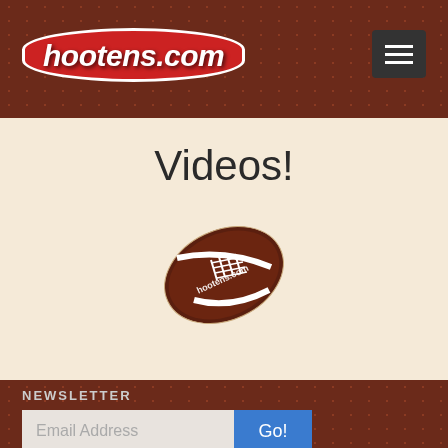[Figure (logo): hootens.com logo in italic bold white text on red oval with white border]
Videos!
[Figure (illustration): American football with hootens.com text on it]
NEWSLETTER
Email Address
Go!